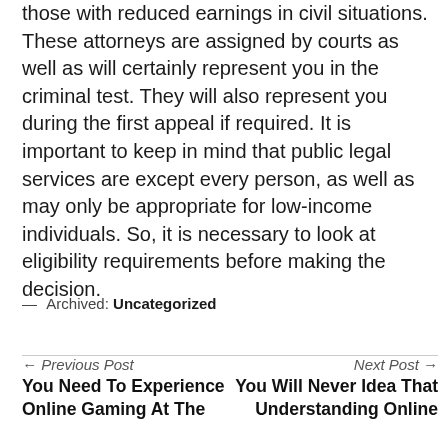those with reduced earnings in civil situations. These attorneys are assigned by courts as well as will certainly represent you in the criminal test. They will also represent you during the first appeal if required. It is important to keep in mind that public legal services are except every person, as well as may only be appropriate for low-income individuals. So, it is necessary to look at eligibility requirements before making the decision.
— Archived: Uncategorized
← Previous Post You Need To Experience Online Gaming At The
Next Post → You Will Never Idea That Understanding Online